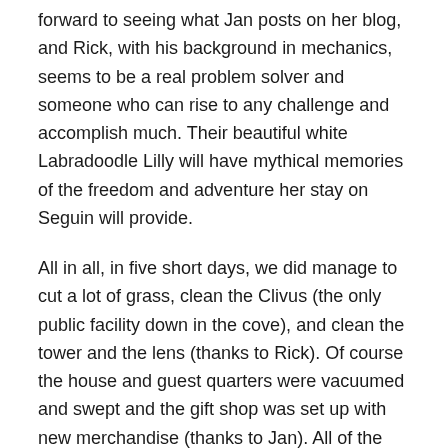forward to seeing what Jan posts on her blog, and Rick, with his background in mechanics, seems to be a real problem solver and someone who can rise to any challenge and accomplish much. Their beautiful white Labradoodle Lilly will have mythical memories of the freedom and adventure her stay on Seguin will provide.
All in all, in five short days, we did manage to cut a lot of grass, clean the Clivus (the only public facility down in the cove), and clean the tower and the lens (thanks to Rick). Of course the house and guest quarters were vacuumed and swept and the gift shop was set up with new merchandise (thanks to Jan). All of the gates and plywood pieces that cover the windows during the winter were taken down and screen doors replaced on the gift shop and oil house.  (We're still waiting for the replacement